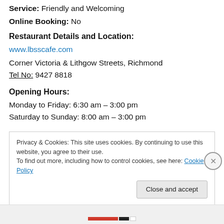Service: Friendly and Welcoming
Online Booking: No
Restaurant Details and Location:
www.lbsscafe.com
Corner Victoria & Lithgow Streets, Richmond
Tel No: 9427 8818
Opening Hours:
Monday to Friday: 6:30 am – 3:00 pm
Saturday to Sunday: 8:00 am – 3:00 pm
Privacy & Cookies: This site uses cookies. By continuing to use this website, you agree to their use. To find out more, including how to control cookies, see here: Cookie Policy
Close and accept